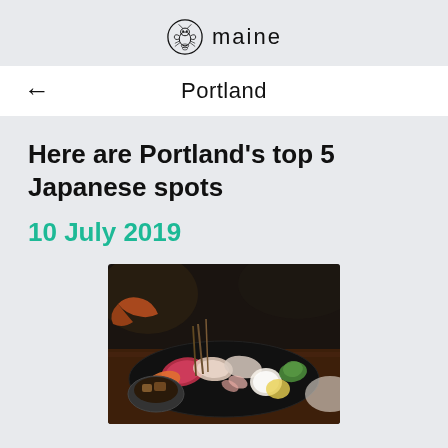maine
Portland
Here are Portland's top 5 Japanese spots
10 July 2019
[Figure (photo): A platter of Japanese sashimi with colorful fish slices, wasabi, and garnishes on a dark plate, photographed in a dimly lit restaurant setting.]